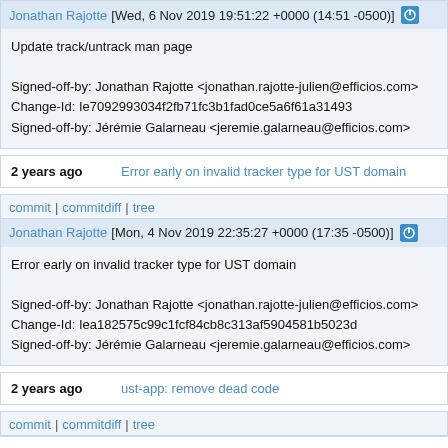Jonathan Rajotte [Wed, 6 Nov 2019 19:51:22 +0000 (14:51 -0500)]
Update track/untrack man page

Signed-off-by: Jonathan Rajotte <jonathan.rajotte-julien@efficios.com>
Change-Id: Ie7092993034f2fb71fc3b1fad0ce5a6f61a31493
Signed-off-by: Jérémie Galarneau <jeremie.galarneau@efficios.com>
2 years ago   Error early on invalid tracker type for UST domain
commit | commitdiff | tree
Jonathan Rajotte [Mon, 4 Nov 2019 22:35:27 +0000 (17:35 -0500)]
Error early on invalid tracker type for UST domain

Signed-off-by: Jonathan Rajotte <jonathan.rajotte-julien@efficios.com>
Change-Id: Iea182575c99c1fcf84cb8c313af5904581b5023d
Signed-off-by: Jérémie Galarneau <jeremie.galarneau@efficios.com>
2 years ago   ust-app: remove dead code
commit | commitdiff | tree